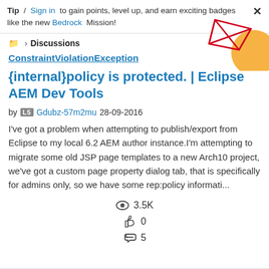Tip / Sign in to gain points, level up, and earn exciting badges like the new Bedrock Mission!
📁 > Discussions
ConstraintViolationException {internal}policy is protected. | Eclipse AEM Dev Tools
by L5 Gdubz-57m2mu 28-09-2016
I've got a problem when attempting to publish/export from Eclipse to my local 6.2 AEM author instance.I'm attempting to migrate some old JSP page templates to a new Arch10 project, we've got a custom page property dialog tab, that is specifically for admins only, so we have some rep:policy informati...
👁 3.5K
👍 0
↩ 5